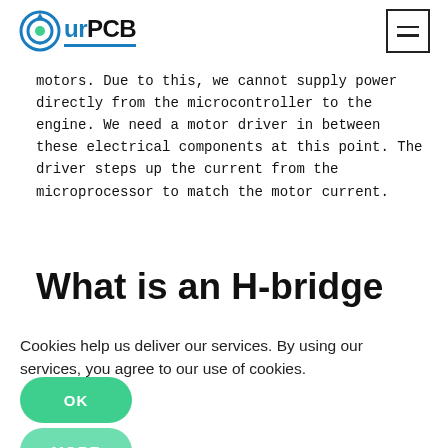OurPCB [logo] [hamburger menu]
motors. Due to this, we cannot supply power directly from the microcontroller to the engine. We need a motor driver in between these electrical components at this point. The driver steps up the current from the microprocessor to match the motor current.
What is an H-bridge
Cookies help us deliver our services. By using our services, you agree to our use of cookies.
OK
MORE